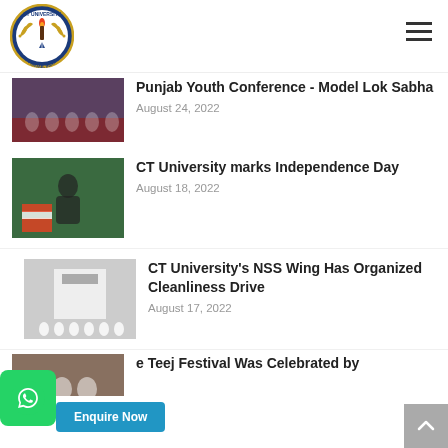[Figure (logo): CT University logo — circular blue badge with torch, pen, wheat, text 'CT UNIVERSITY PUNJAB, INDIA']
[Figure (photo): Group photo at Punjab Youth Conference - Model Lok Sabha event]
Punjab Youth Conference - Model Lok Sabha
August 24, 2022
[Figure (photo): Man speaking at CT University Independence Day event with Indian flags]
CT University marks Independence Day
August 18, 2022
[Figure (photo): Group photo at CT University NSS Wing Cleanliness Drive]
CT University's NSS Wing Has Organized Cleanliness Drive
August 17, 2022
[Figure (photo): Partial photo below for Teej Festival article]
e Teej Festival Was Celebrated by